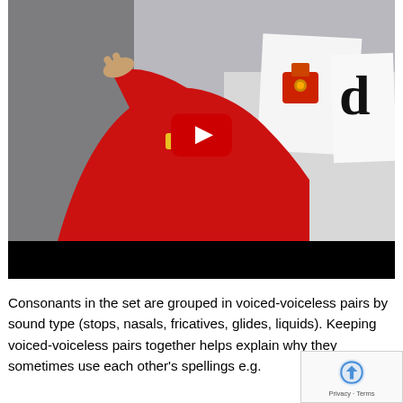[Figure (screenshot): YouTube video thumbnail showing a person in a red sweater pointing at letter/phonics cards on a white table surface. A YouTube play button is overlaid in the center. The bottom portion of the video player is black.]
Consonants in the set are grouped in voiced-voiceless pairs by sound type (stops, nasals, fricatives, glides, liquids). Keeping voiced-voiceless pairs together helps explain why they sometimes use each other's spellings e.g.